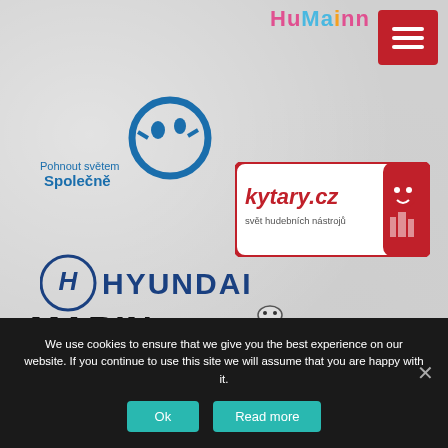[Figure (logo): HuMainn colorful wordmark logo - top center]
[Figure (logo): Pohnout světem Společně logo with blue circle and figures]
[Figure (logo): kytary.cz svět hudebních nástrojů - red box with character logo]
[Figure (logo): Hyundai logo - dark blue text with H emblem]
[Figure (logo): MARIN BIKES CALIFORNIA logo]
[Figure (logo): Michelin logo with Bibendum character and blue rectangle]
We use cookies to ensure that we give you the best experience on our website. If you continue to use this site we will assume that you are happy with it.
Ok
Read more